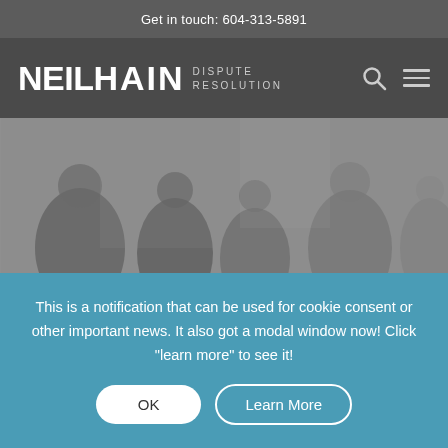Get in touch: 604-313-5891
NEIL HAIN DISPUTE RESOLUTION
[Figure (photo): Blurred black-and-white photo of people in a professional meeting or discussion setting]
This is a notification that can be used for cookie consent or other important news. It also got a modal window now! Click "learn more" to see it!
OK
Learn More